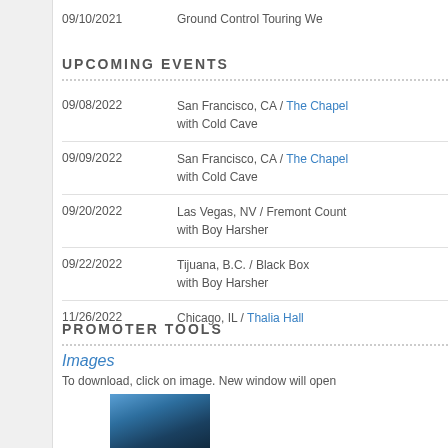09/10/2021   Ground Control Touring We...
UPCOMING EVENTS
| Date | Event |
| --- | --- |
| 09/08/2022 | San Francisco, CA / The Chapel with Cold Cave |
| 09/09/2022 | San Francisco, CA / The Chapel with Cold Cave |
| 09/20/2022 | Las Vegas, NV / Fremont Count... with Boy Harsher |
| 09/22/2022 | Tijuana, B.C. / Black Box with Boy Harsher |
| 11/26/2022 | Chicago, IL / Thalia Hall |
PROMOTER TOOLS
Images
To download, click on image. New window will open...
[Figure (photo): Promotional image thumbnail showing a dark blue/teal atmospheric photo]